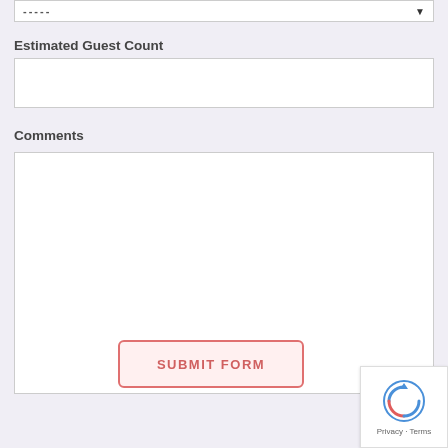[Figure (screenshot): Dropdown select field showing dashes placeholder with arrow icon]
Estimated Guest Count
[Figure (screenshot): Empty text input field for estimated guest count]
Comments
[Figure (screenshot): Large empty textarea for comments]
[Figure (screenshot): SUBMIT FORM button with pink/red border]
[Figure (screenshot): reCAPTCHA badge with Privacy and Terms links]